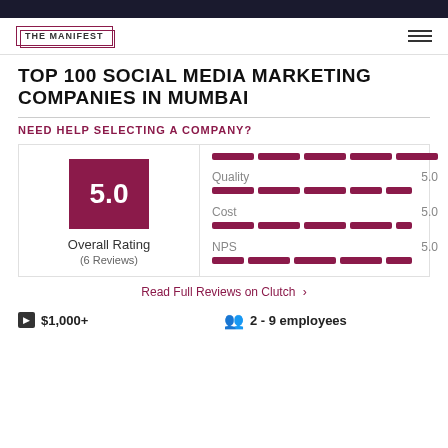THE MANIFEST
TOP 100 SOCIAL MEDIA MARKETING COMPANIES IN MUMBAI
NEED HELP SELECTING A COMPANY?
[Figure (infographic): Rating card showing Overall Rating 5.0 (6 Reviews) with Quality 5.0, Cost 5.0, NPS 5.0 displayed as filled bar segments]
Read Full Reviews on Clutch ›
$1,000+
2 - 9 employees